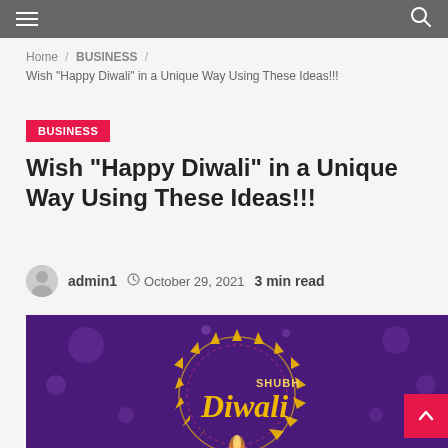Navigation bar with hamburger menu and search icon
Home / BUSINESS / Wish “Happy Diwali” in a Unique Way Using These Ideas!!!
BUSINESS
Wish “Happy Diwali” in a Unique Way Using These Ideas!!!
admin1  October 29, 2021  3 min read
[Figure (illustration): Decorative Diwali greeting image on purple background showing 'Shubh Diwali' text with a decorative circular mandala border with golden spikes, a lit diya (lamp) in the center, and bokeh lights effect on dark purple background.]